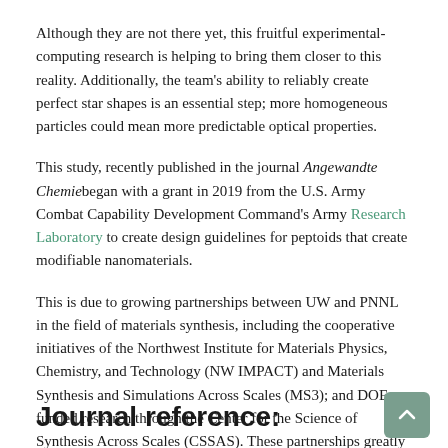Although they are not there yet, this fruitful experimental-computing research is helping to bring them closer to this reality. Additionally, the team's ability to reliably create perfect star shapes is an essential step; more homogeneous particles could mean more predictable optical properties.
This study, recently published in the journal Angewandte Chemie began with a grant in 2019 from the U.S. Army Combat Capability Development Command's Army Research Laboratory to create design guidelines for peptoids that create modifiable nanomaterials.
This is due to growing partnerships between UW and PNNL in the field of materials synthesis, including the cooperative initiatives of the Northwest Institute for Materials Physics, Chemistry, and Technology (NW IMPACT) and Materials Synthesis and Simulations Across Scales (MS3); and DOE-funded research through the Center for the Science of Synthesis Across Scales (CSSAS). These partnerships greatly benefit from the establishments' dual meeting programme.
Journal reference: